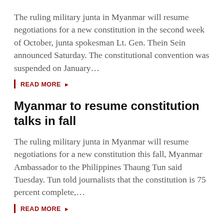The ruling military junta in Myanmar will resume negotiations for a new constitution in the second week of October, junta spokesman Lt. Gen. Thein Sein announced Saturday. The constitutional convention was suspended on January...
READ MORE ▶
Myanmar to resume constitution talks in fall
The ruling military junta in Myanmar will resume negotiations for a new constitution this fall, Myanmar Ambassador to the Philippines Thaung Tun said Tuesday. Tun told journalists that the constitution is 75 percent complete,...
READ MORE ▶